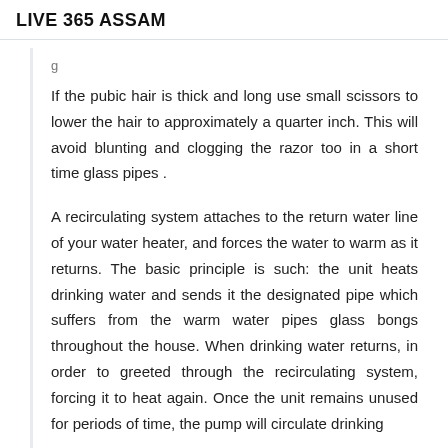LIVE 365 ASSAM
If the pubic hair is thick and long use small scissors to lower the hair to approximately a quarter inch. This will avoid blunting and clogging the razor too in a short time glass pipes .
A recirculating system attaches to the return water line of your water heater, and forces the water to warm as it returns. The basic principle is such: the unit heats drinking water and sends it the designated pipe which suffers from the warm water pipes glass bongs throughout the house. When drinking water returns, in order to greeted through the recirculating system, forcing it to heat again. Once the unit remains unused for periods of time, the pump will circulate drinking